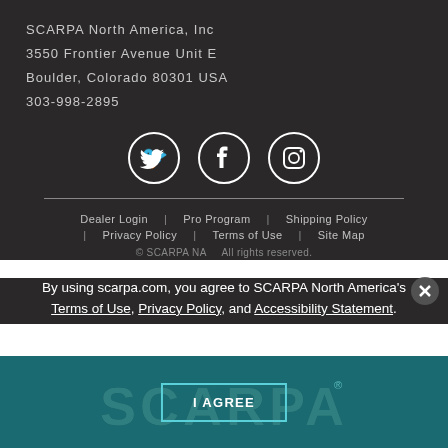SCARPA North America, Inc
3550 Frontier Avenue Unit E
Boulder, Colorado 80301 USA
303-998-2895
[Figure (illustration): Three social media icon circles: Twitter bird, Facebook f, Instagram camera]
Dealer Login | Pro Program | Shipping Policy
Privacy Policy | Terms of Use | Site Map
© SCARPA NA    All rights reserved.
By using scarpa.com, you agree to SCARPA North America's Terms of Use, Privacy Policy, and Accessibility Statement.
[Figure (logo): SCARPA logo in teal background section with I AGREE button overlay]